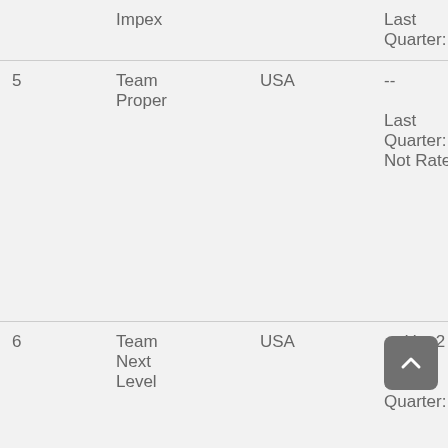| # | Name | Country | Rating |
| --- | --- | --- | --- |
|  | Impex |  | Last Quarter: ... |
| 5 | Team Proper | USA | --

Last Quarter: Not Rate |
| 6 | Team Next Level | USA | Up ▲ 2

Last Quarter: ... |